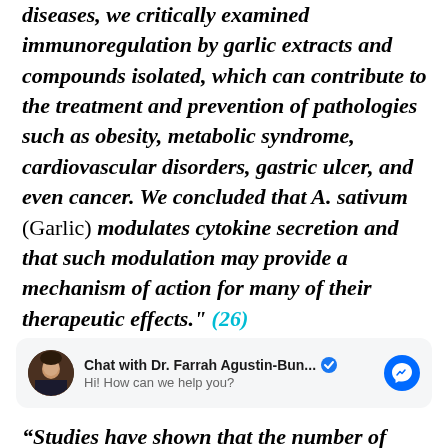diseases, we critically examined immunoregulation by garlic extracts and compounds isolated, which can contribute to the treatment and prevention of pathologies such as obesity, metabolic syndrome, cardiovascular disorders, gastric ulcer, and even cancer. We concluded that A. sativum (Garlic) modulates cytokine secretion and that such modulation may provide a mechanism of action for many of their therapeutic effects." (26)
[Figure (other): Facebook Messenger chat widget showing 'Chat with Dr. Farrah Agustin-Bun...' with verified badge, avatar photo, and message 'Hi! How can we help you?']
“Studies have shown that the number of